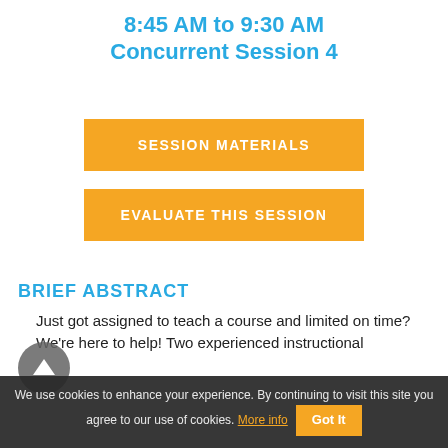8:45 AM to 9:30 AM
Concurrent Session 4
SESSION MATERIALS
EVALUATE THIS SESSION
BRIEF ABSTRACT
Just got assigned to teach a course and limited on time? We're here to help! Two experienced instructional
We use cookies to enhance your experience. By continuing to visit this site you agree to our use of cookies. More info  Got It